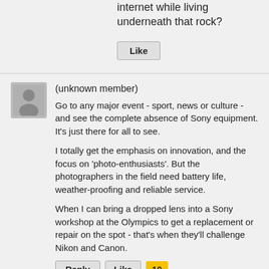internet while living underneath that rock?
Like
(unknown member)
Go to any major event - sport, news or culture - and see the complete absence of Sony equipment. It's just there for all to see.

I totally get the emphasis on innovation, and the focus on 'photo-enthusiasts'. But the photographers in the field need battery life, weather-proofing and reliable service.

When I can bring a dropped lens into a Sony workshop at the Olympics to get a replacement or repair on the spot - that's when they'll challenge Nikon and Canon.
Reply  Like  10
Low Budget Dave